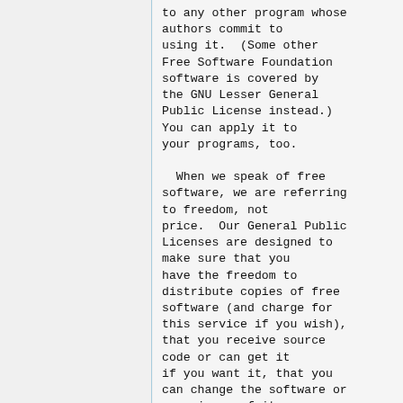to any other program whose authors commit to using it.  (Some other Free Software Foundation software is covered by the GNU Lesser General Public License instead.) You can apply it to your programs, too.

  When we speak of free software, we are referring to freedom, not price.  Our General Public Licenses are designed to make sure that you have the freedom to distribute copies of free software (and charge for this service if you wish), that you receive source code or can get it if you want it, that you can change the software or use pieces of it